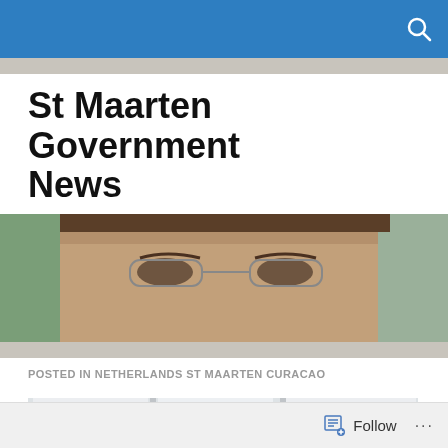St Maarten Government News
Stmaartennews.org St Maarten News Tel:721 527 2769
[Figure (photo): Close-up cropped photo of a man with glasses and short dark hair]
POSTED IN NETHERLANDS ST MAARTEN CURACAO
[Figure (photo): Group of people standing under a tent/canopy at an outdoor event]
Follow